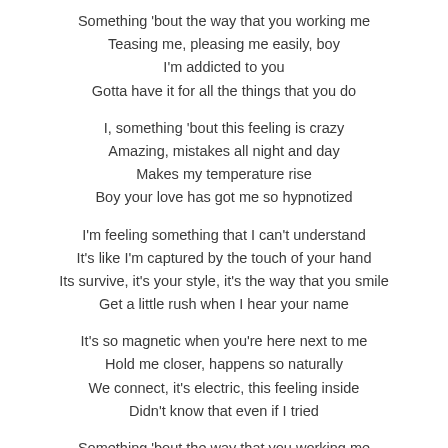Something 'bout the way that you working me
Teasing me, pleasing me easily, boy
I'm addicted to you
Gotta have it for all the things that you do
I, something 'bout this feeling is crazy
Amazing, mistakes all night and day
Makes my temperature rise
Boy your love has got me so hypnotized
I'm feeling something that I can't understand
It's like I'm captured by the touch of your hand
Its survive, it's your style, it's the way that you smile
Get a little rush when I hear your name
It's so magnetic when you're here next to me
Hold me closer, happens so naturally
We connect, it's electric, this feeling inside
Didn't know that even if I tried
Something 'bout the way that you working me
Teasing me, pleasing me easily, boy
I'm addicted to you